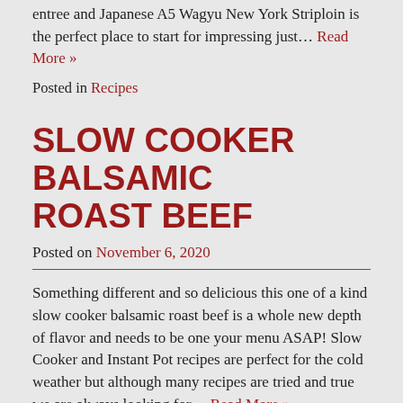entree and Japanese A5 Wagyu New York Striploin is the perfect place to start for impressing just… Read More »
Posted in Recipes
SLOW COOKER BALSAMIC ROAST BEEF
Posted on November 6, 2020
Something different and so delicious this one of a kind slow cooker balsamic roast beef is a whole new depth of flavor and needs to be one your menu ASAP! Slow Cooker and Instant Pot recipes are perfect for the cold weather but although many recipes are tried and true we are always looking for… Read More »
Posted in Recipes